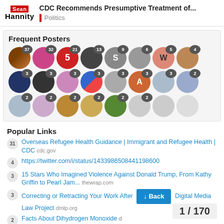Sean Hannity — CDC Recommends Presumptive Treatment of... — Politics
Frequent Posters
[Figure (other): Grid of user avatar circles with post-count badges showing frequent posters]
Popular Links
31 — Overseas Refugee Health Guidance | Immigrant and Refugee Health | CDC  cdc.gov
4 — https://twitter.com/i/status/1433986508441198600
3 — 15 Stars Who Imagined Violence Against Donald Trump, From Kathy Griffin to Pearl Jam...  thewrap.com
3 — Correcting or Retracting Your Work After  Digital Media Law Project  dmlp.org
2 — Facts About Dihydrogen Monoxide  d...
1 / 170